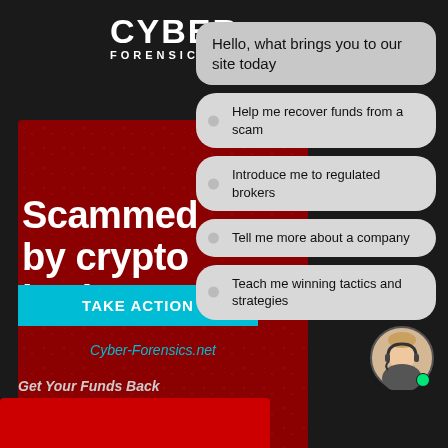[Figure (infographic): Dark background cybersecurity/finance infographic with a red ad panel on the left showing 'Scammed by crypto broker?' with CYBER FORENSICS.NET logo and TAKE ACTION button, overlapping a chat interface on the right showing a chatbot with menu options for fund recovery, regulated brokers, company info, and trading tactics, with a customer service avatar in the bottom right corner.]